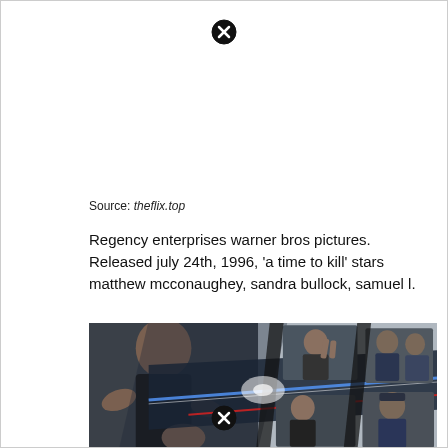[Figure (other): Close/dismiss button (X icon) at top center of page]
Source: theflix.top
Regency enterprises warner bros pictures. Released july 24th, 1996, 'a time to kill' stars matthew mcconaughey, sandra bullock, samuel l.
[Figure (photo): Movie promotional image showing action figures/actors in a collage style with diagonal slash design, dark dramatic tones with blue and red accents]
[Figure (other): Close/dismiss button (X icon) at bottom center of page]